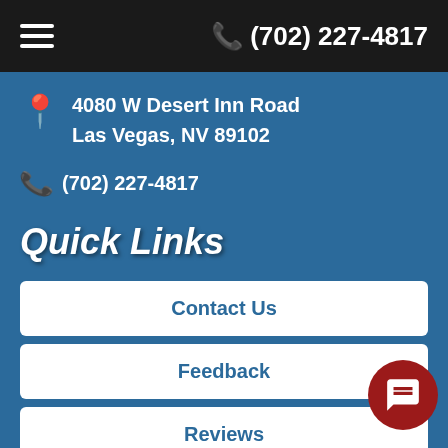(702) 227-4817
4080 W Desert Inn Road
Las Vegas, NV 89102
(702) 227-4817
Quick Links
Contact Us
Feedback
Reviews